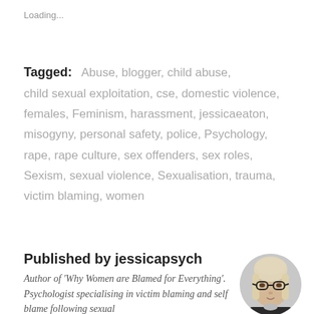Loading...
Tagged: Abuse, blogger, child abuse, child sexual exploitation, cse, domestic violence, females, Feminism, harassment, jessicaeaton, misogyny, personal safety, police, Psychology, rape, rape culture, sex offenders, sex roles, Sexism, sexual violence, Sexualisation, trauma, victim blaming, women
Published by jessicapsych
Author of 'Why Women are Blamed for Everything'. Psychologist specialising in victim blaming and self blame following sexual
[Figure (photo): Circular portrait photo of a woman with blonde hair and black-rimmed glasses, wearing dark clothing, looking at the camera.]